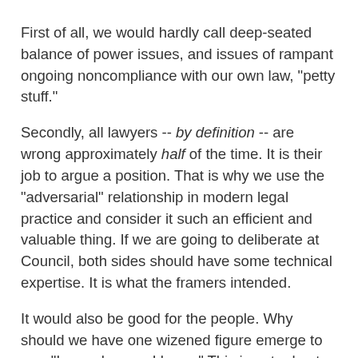First of all, we would hardly call deep-seated balance of power issues, and issues of rampant ongoing noncompliance with our own law, "petty stuff."
Secondly, all lawyers -- by definition -- are wrong approximately half of the time. It is their job to argue a position. That is why we use the "adversarial" relationship in modern legal practice and consider it such an efficient and valuable thing. If we are going to deliberate at Council, both sides should have some technical expertise. It is what the framers intended.
It would also be good for the people. Why should we have one wizened figure emerge to say, "I am a lawyer; I know." This is not robust dialogue.
We should be unafraid to have spirited, public legal conversations, to show both our deference to the law and our concern that it be applied uniformly and in good faith.
It is said that the man who represents himself has a fool for a